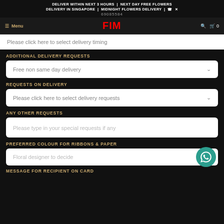DELIVER WITHIN NEXT 3 HOURS | NEXT DAY FREE FLOWERS DELIVERY IN SINGAPORE | MIDNIGHT FLOWERS DELIVERY | 📞 ✕
69085584
☰ Menu | FIM | 🔍 | 🛒 0
Please click here to select delivery timing
ADDITIONAL DELIVERY REQUESTS
Free non same day delivery
REQUESTS ON DELIVERY
Please click here to select delivery requests
ANY OTHER REQUESTS
Please type in your special requests if any
PREFERRED COLOUR FOR RIBBONS & PAPER
Floral designer to decide
MESSAGE FOR RECIPIENT ON CARD